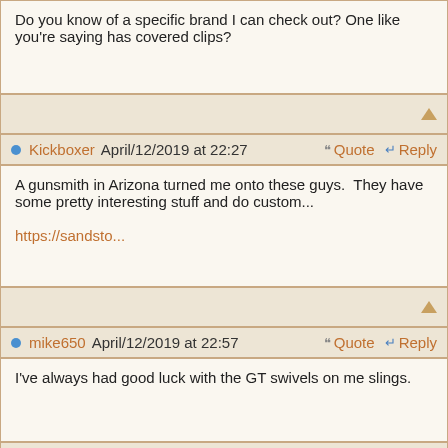Do you know of a specific brand I can check out? One like you're saying has covered clips?
Kickboxer April/12/2019 at 22:27   Quote   Reply
A gunsmith in Arizona turned me onto these guys.  They have some pretty interesting stuff and do custom...

https://sandsto...
mike650 April/12/2019 at 22:57   Quote   Reply
I've always had good luck with the GT swivels on me slings.
RifleDude April/13/2019 at 08:20   Quote   Reply
pessimisticpuma wrote: